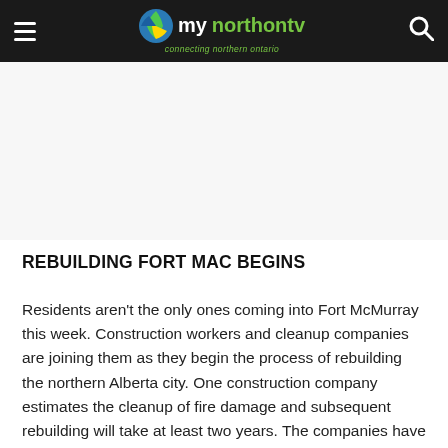mynorthontv — connecting northern ontario
[Figure (other): Advertisement or blank space area below navigation bar]
REBUILDING FORT MAC BEGINS
Residents aren't the only ones coming into Fort McMurray this week. Construction workers and cleanup companies are joining them as they begin the process of rebuilding the northern Alberta city. One construction company estimates the cleanup of fire damage and subsequent rebuilding will take at least two years. The companies have put out the help